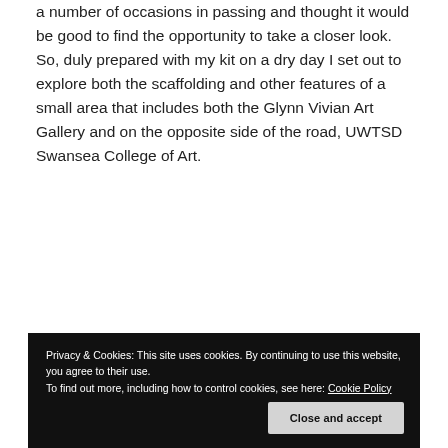a number of occasions in passing and thought it would be good to find the opportunity to take a closer look. So, duly prepared with my kit on a dry day I set out to explore both the scaffolding and other features of a small area that includes both the Glynn Vivian Art Gallery and on the opposite side of the road, UWTSD Swansea College of Art.
Privacy & Cookies: This site uses cookies. By continuing to use this website, you agree to their use.
To find out more, including how to control cookies, see here: Cookie Policy